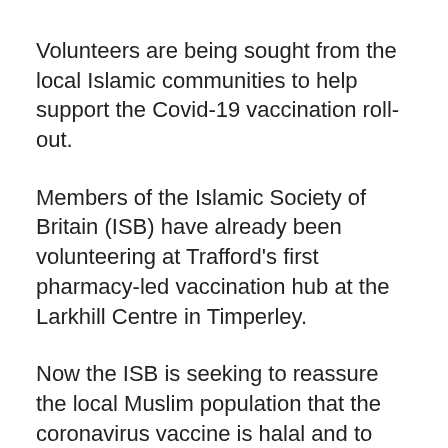Volunteers are being sought from the local Islamic communities to help support the Covid-19 vaccination roll-out.
Members of the Islamic Society of Britain (ISB) have already been volunteering at Trafford's first pharmacy-led vaccination hub at the Larkhill Centre in Timperley.
Now the ISB is seeking to reassure the local Muslim population that the coronavirus vaccine is halal and to combat other misinformation in circulation.
ISB Volunteer organiser Zainul Sachak said: “We are aware that some members of the BAME communities may have reservations about the